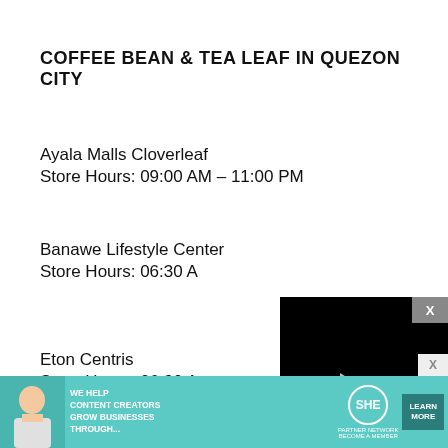COFFEE BEAN & TEA LEAF IN QUEZON CITY
Ayala Malls Cloverleaf
Store Hours: 09:00 AM – 11:00 PM
Banawe Lifestyle Center
Store Hours: 06:30 A
[Figure (screenshot): Video player overlay on top of page content, showing a black video player with a play button, progress bar at 13:52, and video controls (mute, CC, grid, settings, fullscreen)]
Eton Centris
Store Hours: 06:30 A
Fairview Terraces Mall
Store Hours: 08:00 AM – 12:00 PM
[Figure (infographic): Advertisement banner for SHE Media Partner Network reading: WE HELP CONTENT CREATORS GROW BUSINESSES THROUGH... with a LEARN MORE button]